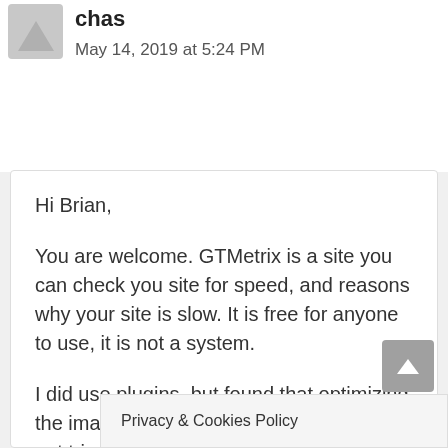chas
May 14, 2019 at 5:24 PM
Hi Brian,

You are welcome. GTMetrix is a site you can check you site for speed, and reasons why your site is slow. It is free for anyone to use, it is not a system.

I did use plugins, but found that optimizing the images manually works for me. I have not tried the TinyPNG plugin, or WP Smush, but they both sound like good image compressio…
Privacy & Cookies Policy